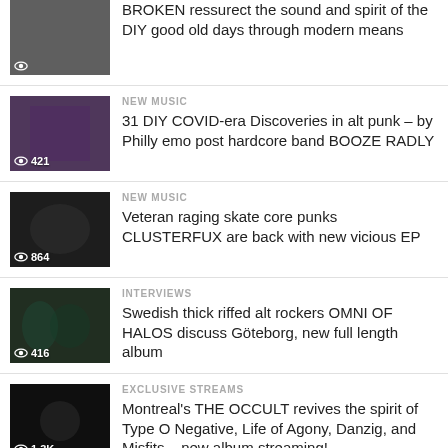BROKEN ressurect the sound and spirit of the DIY good old days through modern means
NEW MUSIC
31 DIY COVID-era Discoveries in alt punk – by Philly emo post hardcore band BOOZE RADLY
NEW MUSIC
Veteran raging skate core punks CLUSTERFUX are back with new vicious EP
INTERVIEWS
Swedish thick riffed alt rockers OMNI OF HALOS discuss Göteborg, new full length album
EXCLUSIVE STREAMS
Montreal's THE OCCULT revives the spirit of Type O Negative, Life of Agony, Danzig, and Misfits – new album streaming!
EXCLUSIVE STREAMS
Toronto metalcore act SINGLE WOUND tackles suicide and mental health with new